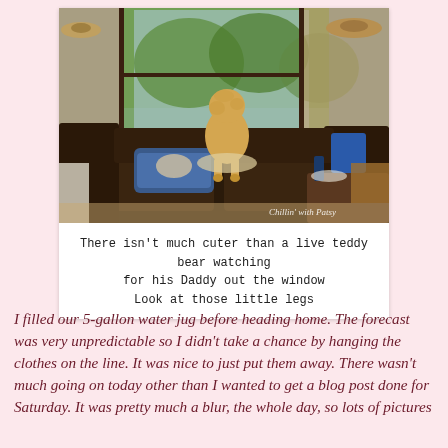[Figure (photo): A fluffy golden/apricot dog (doodle breed) standing on the arm of a dark leather sofa, looking out a large window at green trees. Inside the room there is a blue pet bed on the sofa, pillows, a coffee table, and hats hanging on the wall. Watermark reads 'Chillin' with Patsy'.]
There isn't much cuter than a live teddy bear watching for his Daddy out the window
Look at those little legs
I filled our 5-gallon water jug before heading home. The forecast was very unpredictable so I didn't take a chance by hanging the clothes on the line. It was nice to just put them away. There wasn't much going on today other than I wanted to get a blog post done for Saturday. It was pretty much a blur, the whole day, so lots of pictures